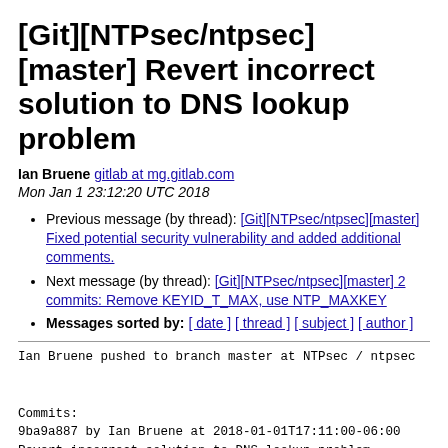[Git][NTPsec/ntpsec][master] Revert incorrect solution to DNS lookup problem
Ian Bruene gitlab at mg.gitlab.com
Mon Jan 1 23:12:20 UTC 2018
Previous message (by thread): [Git][NTPsec/ntpsec][master] Fixed potential security vulnerability and added additional comments.
Next message (by thread): [Git][NTPsec/ntpsec][master] 2 commits: Remove KEYID_T_MAX, use NTP_MAXKEY
Messages sorted by: [ date ] [ thread ] [ subject ] [ author ]
Ian Bruene pushed to branch master at NTPsec / ntpsec


Commits:
9ba9a887 by Ian Bruene at 2018-01-01T17:11:00-06:00
Revert incorrect solution to DNS lookup problem

This reverts commits: